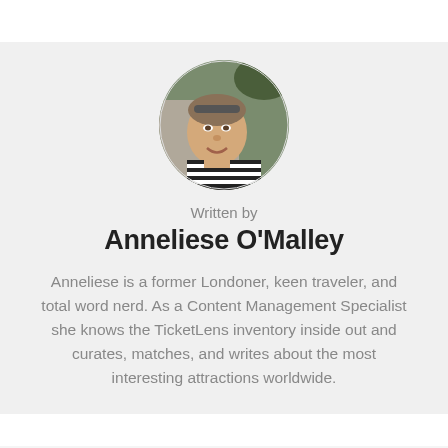[Figure (photo): Circular cropped profile photo of Anneliese O'Malley, a young woman with sunglasses on her head, smiling, outdoors with rocks and greenery in background.]
Written by
Anneliese O'Malley
Anneliese is a former Londoner, keen traveler, and total word nerd. As a Content Management Specialist she knows the TicketLens inventory inside out and curates, matches, and writes about the most interesting attractions worldwide.